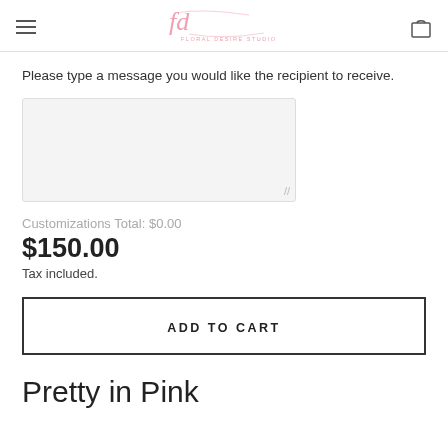fd FLORAL DESIRE STUDIO
Please type a message you would like the recipient to receive.
Customizations Total: $0.00
$150.00
Tax included.
ADD TO CART
Pretty in Pink